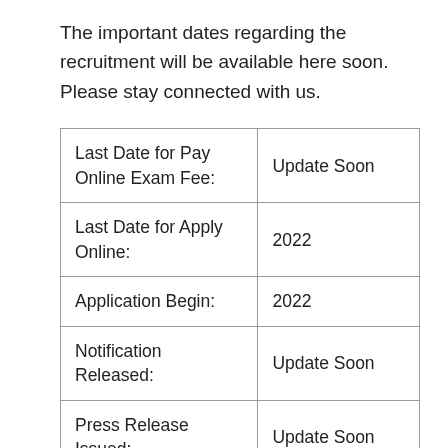The important dates regarding the recruitment will be available here soon. Please stay connected with us.
| Last Date for Pay Online Exam Fee: | Update Soon |
| Last Date for Apply Online: | 2022 |
| Application Begin: | 2022 |
| Notification Released: | Update Soon |
| Press Release Issued: | Update Soon |
| Answer Key Available | 2022 |